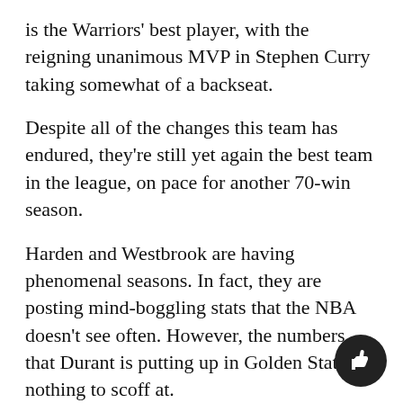is the Warriors' best player, with the reigning unanimous MVP in Stephen Curry taking somewhat of a backseat.
Despite all of the changes this team has endured, they're still yet again the best team in the league, on pace for another 70-win season.
Harden and Westbrook are having phenomenal seasons. In fact, they are posting mind-boggling stats that the NBA doesn't see often. However, the numbers that Durant is putting up in Golden State are nothing to scoff at.
Durant is averaging 26.3 points per game, 8.4 rebounds, and 4.7 assists according to ESPN. At first glance, this doesn't seem like it compares to Westbrook's season averages of 30.8 points, 10 rebounds, and 10.2 assists.
[Figure (illustration): A thumbs-up icon in a dark circular button in the bottom-right corner.]